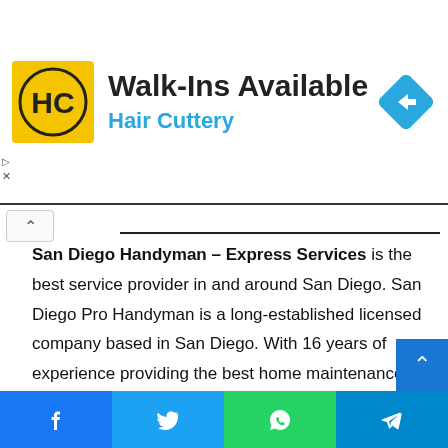[Figure (logo): Hair Cuttery advertisement banner with HC logo, Walk-Ins Available text, and a blue navigation arrow icon]
San Diego Handyman – Express Services is the best service provider in and around San Diego. San Diego Pro Handyman is a long-established licensed company based in San Diego. With 16 years of experience providing the best home maintenance services, they have thousands of satisfied customers in and around San Diego who eagerly recommend their services to their friends and relatives.
Their technicians are all certified and fully insured. They are very professional, skilled and experienced. No matter what problems you have in your home, the experts are always re... to help. They offer their customers a safe and reliable home...